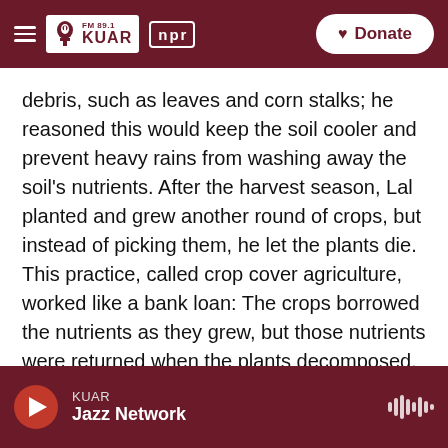FM 89.1 KUAR | NPR | Donate
debris, such as leaves and corn stalks; he reasoned this would keep the soil cooler and prevent heavy rains from washing away the soil's nutrients. After the harvest season, Lal planted and grew another round of crops, but instead of picking them, he let the plants die. This practice, called crop cover agriculture, worked like a bank loan: The crops borrowed the nutrients as they grew, but those nutrients were returned when the plants decomposed. And because he was locking up these nutrients in cover crops, the rainwater and wind couldn't carry them away.
KUAR Jazz Network